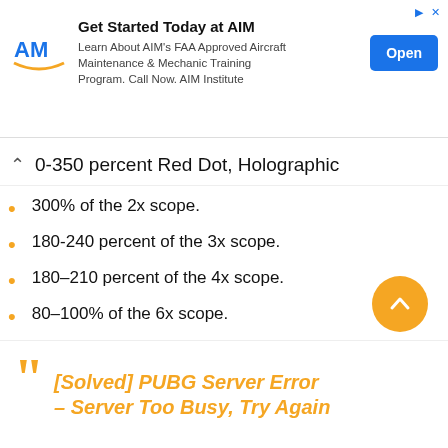[Figure (infographic): Advertisement banner for AIM Institute: 'Get Started Today at AIM', logo on left, Open button on right.]
0-350 percent Red Dot, Holographic
300% of the 2x scope.
180-240 percent of the 3x scope.
180–210 percent of the 4x scope.
80–100% of the 6x scope.
50-70 percent of the 8x scope.
[Solved] PUBG Server Error – Server Too Busy, Try Again